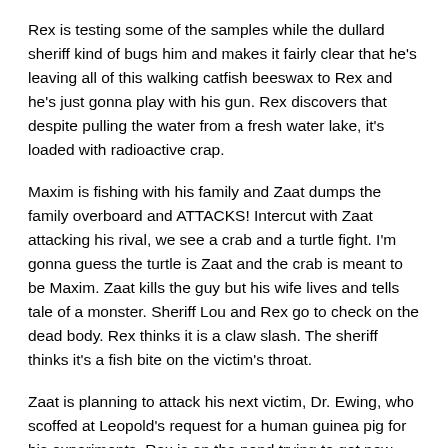Rex is testing some of the samples while the dullard sheriff kind of bugs him and makes it fairly clear that he's leaving all of this walking catfish beeswax to Rex and he's just gonna play with his gun. Rex discovers that despite pulling the water from a fresh water lake, it's loaded with radioactive crap.
Maxim is fishing with his family and Zaat dumps the family overboard and ATTACKS! Intercut with Zaat attacking his rival, we see a crab and a turtle fight. I'm gonna guess the turtle is Zaat and the crab is meant to be Maxim. Zaat kills the guy but his wife lives and tells tale of a monster. Sheriff Lou and Rex go to check on the dead body. Rex thinks it is a claw slash. The sheriff thinks it's a fish bite on the victim's throat.
Zaat is planning to attack his next victim, Dr. Ewing, who scoffed at Leopold's request for a human guinea pig for his experiments. Rex is on the pond trying to get new samples. He sees Zaat tear up his net. He gets the information for InPIT – the Internations Phenomena